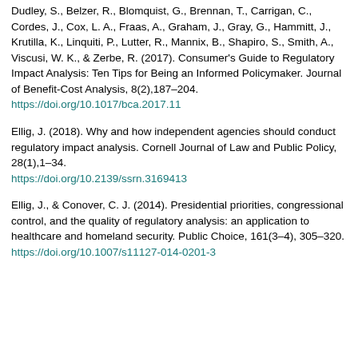Dudley, S., Belzer, R., Blomquist, G., Brennan, T., Carrigan, C., Cordes, J., Cox, L. A., Fraas, A., Graham, J., Gray, G., Hammitt, J., Krutilla, K., Linquiti, P., Lutter, R., Mannix, B., Shapiro, S., Smith, A., Viscusi, W. K., & Zerbe, R. (2017). Consumer's Guide to Regulatory Impact Analysis: Ten Tips for Being an Informed Policymaker. Journal of Benefit-Cost Analysis, 8(2),187–204. https://doi.org/10.1017/bca.2017.11
Ellig, J. (2018). Why and how independent agencies should conduct regulatory impact analysis. Cornell Journal of Law and Public Policy, 28(1),1–34. https://doi.org/10.2139/ssrn.3169413
Ellig, J., & Conover, C. J. (2014). Presidential priorities, congressional control, and the quality of regulatory analysis: an application to healthcare and homeland security. Public Choice, 161(3–4), 305–320. https://doi.org/10.1007/s11127-014-0201-3